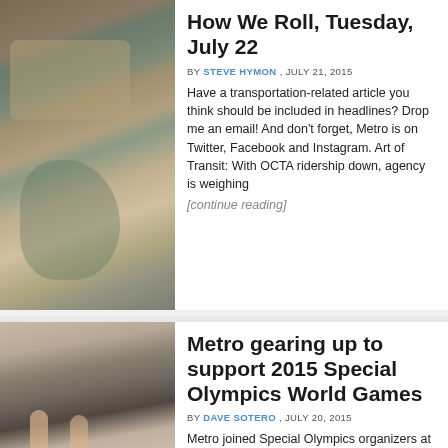[Figure (photo): Aerial photograph of suburban housing development on hilly terrain]
How We Roll, Tuesday, July 22
BY STEVE HYMON , JULY 21, 2015
Have a transportation-related article you think should be included in headlines? Drop me an email! And don't forget, Metro is on Twitter, Facebook and Instagram. Art of Transit: With OCTA ridership down, agency is weighing
[continue reading]
[Figure (photo): Indoor event photo with people raising hands]
Metro gearing up to support 2015 Special Olympics World Games
BY DAVE SOTERO , JULY 20, 2015
Metro joined Special Olympics organizers at L.A. Convention